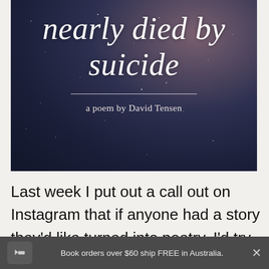[Figure (illustration): Book cover image with dark navy starfield background and light beam/nebula effect at top right. Large italic white text reads 'nearly died by suicide' with a horizontal divider line and byline 'a poem by David Tensen' below.]
Last week I put out a call out on Instagram that if anyone had a story they'd like turned into poetry, I'd try write one.  A good number of
Book orders over $60 ship FREE in Australia.